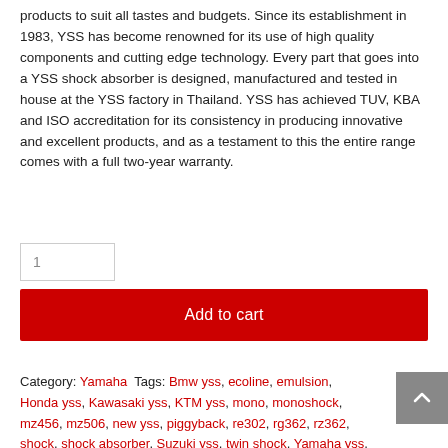products to suit all tastes and budgets. Since its establishment in 1983, YSS has become renowned for its use of high quality components and cutting edge technology. Every part that goes into a YSS shock absorber is designed, manufactured and tested in house at the YSS factory in Thailand. YSS has achieved TUV, KBA and ISO accreditation for its consistency in producing innovative and excellent products, and as a testament to this the entire range comes with a full two-year warranty.
Category: Yamaha Tags: Bmw yss, ecoline, emulsion, Honda yss, Kawasaki yss, KTM yss, mono, monoshock, mz456, mz506, new yss, piggyback, re302, rg362, rz362, shock, shock absorber, Suzuki yss, twin shock, Yamaha yss, Yss, yss monoshock, yss piggyback, yss shock, yss shock absorber, yss twin